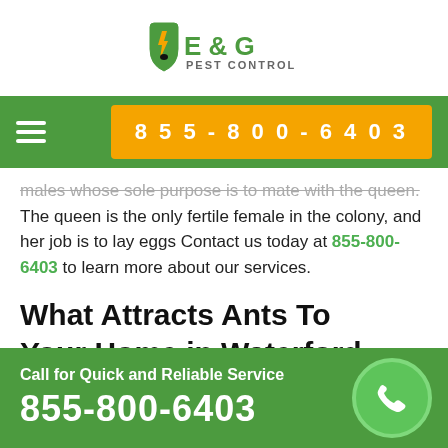[Figure (logo): E & G Pest Control logo with shield icon containing a bug and lightning bolt]
855-800-6403
males whose sole purpose is to mate with the queen. The queen is the only fertile female in the colony, and her job is to lay eggs Contact us today at 855-800-6403 to learn more about our services.
What Attracts Ants To Your Home in Waterford, CA?
Call for Quick and Reliable Service 855-800-6403